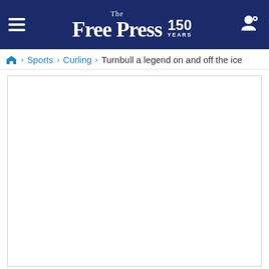The Free Press 150 YEARS
Home > Sports > Curling > Turnbull a legend on and off the ice
[Figure (other): Empty white content area placeholder for article image or advertisement]